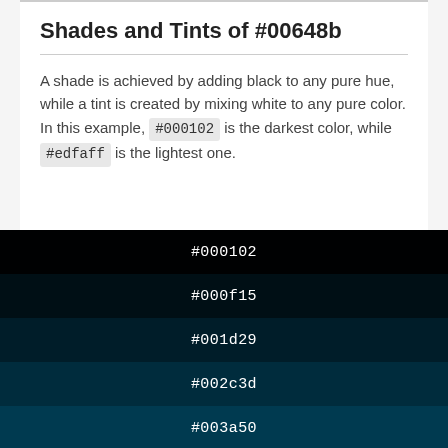Shades and Tints of #00648b
A shade is achieved by adding black to any pure hue, while a tint is created by mixing white to any pure color. In this example, #000102 is the darkest color, while #edfaff is the lightest one.
[Figure (infographic): Color swatches showing shades of #00648b: #000102 (nearly black), #000f15 (very dark blue), #001d29 (dark blue), #002c3d (dark teal), #003a50 (dark teal-blue)]